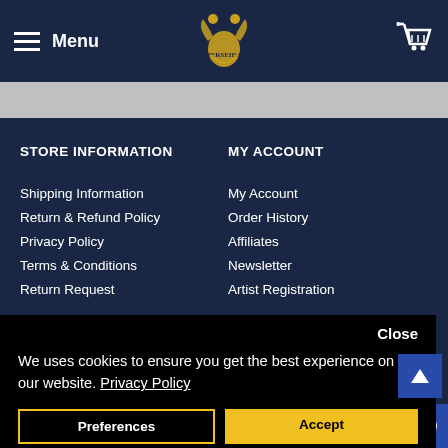Menu | PERSEIDA logo | Cart
STORE INFORMATION
Shipping Information
Return & Refund Policy
Privacy Policy
Terms & Conditions
Return Request
MY ACCOUNT
My Account
Order History
Affiliates
Newsletter
Artist Registration
Close
We uses cookies to ensure you get the best experience on our website. Privacy Policy
Preferences
Accept
1  ADD TO CART